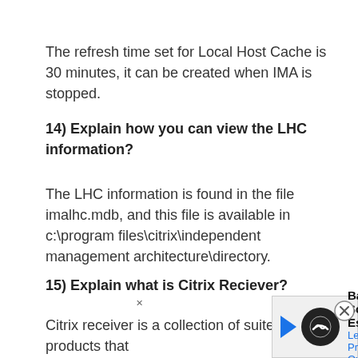The refresh time set for Local Host Cache is 30 minutes, it can be created when IMA is stopped.
14) Explain how you can view the LHC information?
The LHC information is found in the file imalhc.mdb, and this file is available in c:\program files\citrix\independent management architecture\directory.
15) Explain what is Citrix Reciever?
Citrix receiver is a collection of suite of products that
[Figure (other): Advertisement banner for Back To School Essentials - Leesburg Premium Outlets]